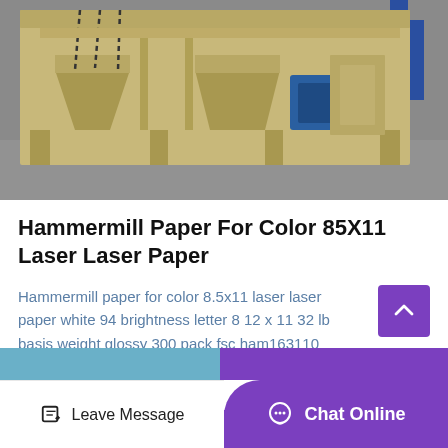[Figure (photo): Industrial machine (likely a hammermill or vibratory screen) in beige/yellow painted steel construction with chains, bins, and a blue motor, photographed outdoors on a concrete surface with a person in blue work clothes partially visible in the background.]
Hammermill Paper For Color 85X11 Laser Laser Paper
Hammermill paper for color 8.5x11 laser laser paper white 94 brightness letter 8 12 x 11 32 lb basis weight glossy 300 pack fsc ham163110 11.08 pk.
Get Price
Leave Message   Chat Online